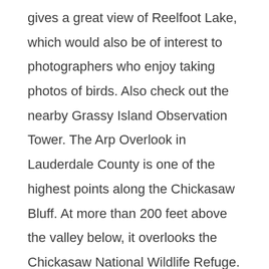gives a great view of Reelfoot Lake, which would also be of interest to photographers who enjoy taking photos of birds. Also check out the nearby Grassy Island Observation Tower. The Arp Overlook in Lauderdale County is one of the highest points along the Chickasaw Bluff. At more than 200 feet above the valley below, it overlooks the Chickasaw National Wildlife Refuge.
More info:
Natchez Trace overlooks: